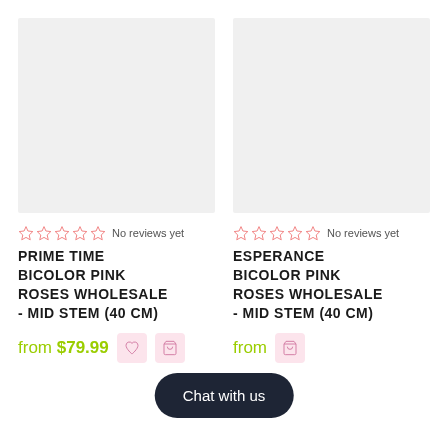[Figure (photo): Product image placeholder for Prime Time Bicolor Pink Roses (light gray rectangle)]
No reviews yet
PRIME TIME BICOLOR PINK ROSES WHOLESALE - MID STEM (40 CM)
from $79.99
[Figure (photo): Product image placeholder for Esperance Bicolor Pink Roses (light gray rectangle)]
No reviews yet
ESPERANCE BICOLOR PINK ROSES WHOLESALE - MID STEM (40 CM)
from
Chat with us